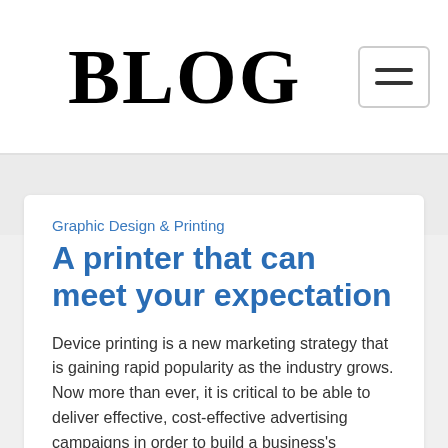BLOG
Graphic Design & Printing
A printer that can meet your expectation
Device printing is a new marketing strategy that is gaining rapid popularity as the industry grows. Now more than ever, it is critical to be able to deliver effective, cost-effective advertising campaigns in order to build a business's presence and marketability. While there are a number of